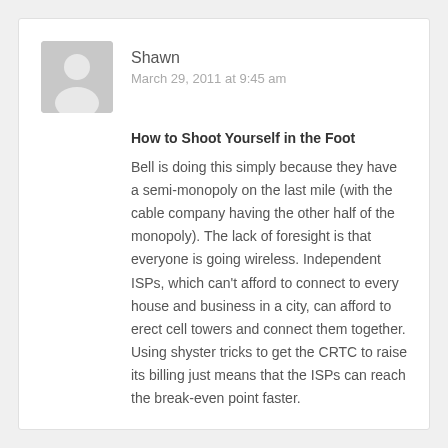[Figure (illustration): Grey placeholder avatar showing a person silhouette]
Shawn
March 29, 2011 at 9:45 am
How to Shoot Yourself in the Foot
Bell is doing this simply because they have a semi-monopoly on the last mile (with the cable company having the other half of the monopoly). The lack of foresight is that everyone is going wireless. Independent ISPs, which can't afford to connect to every house and business in a city, can afford to erect cell towers and connect them together. Using shyster tricks to get the CRTC to raise its billing just means that the ISPs can reach the break-even point faster.